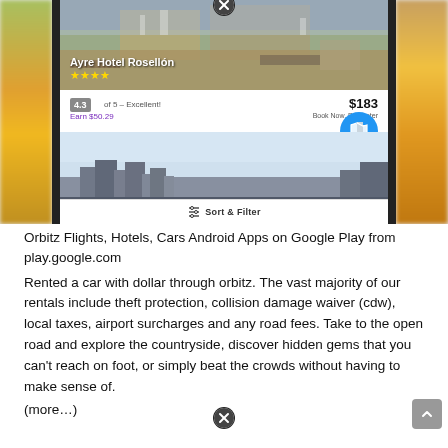[Figure (screenshot): Mobile app screenshot showing Orbitz hotel booking interface with Ayre Hotel Rosellon listing (4.3/5 Excellent, $183, Earn $50.29, Book Now Pay Later), a hotel rooftop photo, a second hotel exterior photo, map button, Sort & Filter bar, and blurred colorful side content.]
Orbitz Flights, Hotels, Cars Android Apps on Google Play from play.google.com
Rented a car with dollar through orbitz. The vast majority of our rentals include theft protection, collision damage waiver (cdw), local taxes, airport surcharges and any road fees. Take to the open road and explore the countryside, discover hidden gems that you can't reach on foot, or simply beat the crowds without having to make sense of.
(more...)